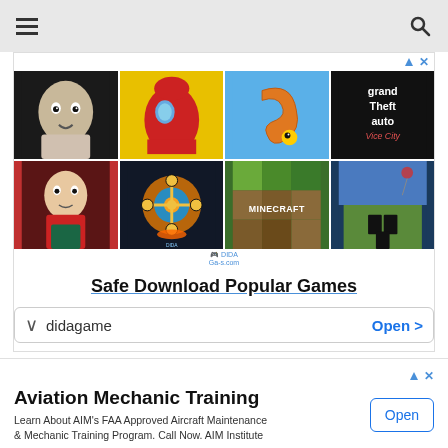≡ [hamburger menu] ... [search icon]
[Figure (screenshot): Advertisement banner showing 8 popular mobile game icons (Granny, Among Us, Snake, GTA Vice City, Baldi's Basics, Fish/puzzle game, Minecraft, Roblox) in a 4x2 grid with 'Safe Download Popular Games' headline and 'didagame Open >' footer row]
[Figure (screenshot): Advertisement banner for Aviation Mechanic Training - Learn About AIM's FAA Approved Aircraft Maintenance & Mechanic Training Program. Call Now. AIM Institute. With Open button.]